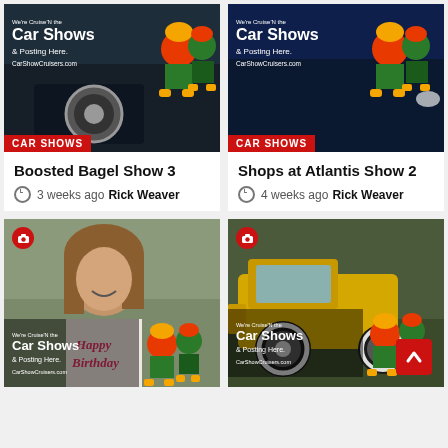[Figure (photo): Car show promotional banner over classic dark car with 'We're Cruise'N the Car Shows & Posting Here. CarShowCruisers.com' text, mascot characters, and CAR SHOWS red label]
[Figure (photo): Car show promotional banner over blue sports car with 'We're Cruise'N the Car Shows & Posting Here. CarShowCruisers.com' text, mascot characters, and CAR SHOWS red label]
Boosted Bagel Show 3
3 weeks ago  Rick Weaver
Shops at Atlantis Show 2
4 weeks ago  Rick Weaver
[Figure (photo): Woman smiling at car show with birthday cake shirt, camera badge icon, 'We're Cruise'N the Car Shows & Posting Here. CarShowCruisers.com' overlay with mascot characters]
[Figure (photo): Yellow vintage hot rod truck at car show with camera badge icon, 'We're Cruise'N the Car Shows & Posting Here. CarShowCruisers.com' overlay with mascot characters]